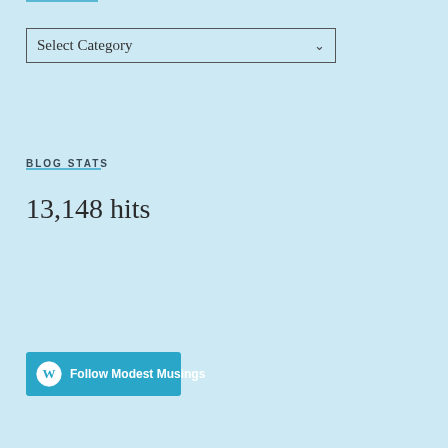[Figure (screenshot): Select Category dropdown widget on a light blue blog sidebar]
BLOG STATS
13,148 hits
[Figure (other): Follow Modest Musings button with WordPress logo in teal/blue color]